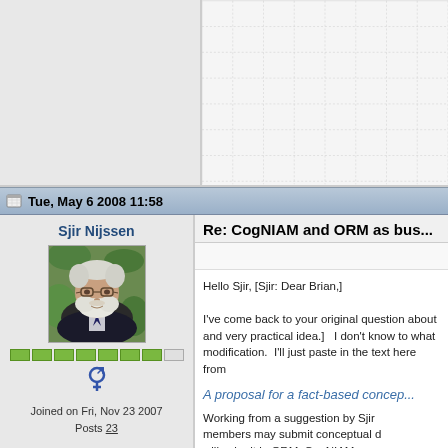[Figure (screenshot): Top section with grey left panel and gridded right panel (spreadsheet-like grid)]
Tue, May 6 2008 11:58
Sjir Nijssen
[Figure (photo): Portrait photo of an older man with white beard and glasses, wearing a dark jacket]
Joined on Fri, Nov 23 2007
Posts 23
Re: CogNIAM and ORM as bus...
Hello Sjir, [Sjir: Dear Brian,]

I've come back to your original question about and very practical idea.]   I don't know to what modification.  I'll just paste in the text here from
A proposal for a fact-based concep...
Working from a suggestion by Sjir members may submit conceptual d will submit in ORM, CogNIAM a...